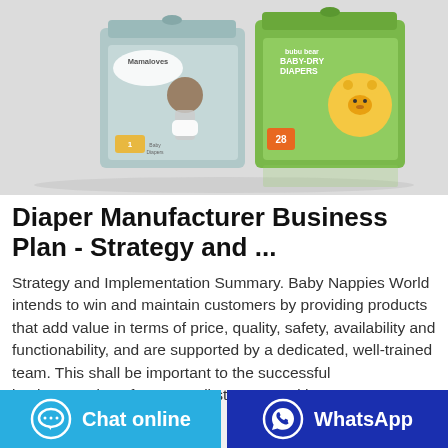[Figure (photo): Two baby diaper product boxes: a teal/grey 'Mamaloves Baby Diapers' box with a baby photo on the left, and a green 'bubu bear Baby-Dry Diapers' box with a cartoon bear character on the right, displayed on a reflective white surface.]
Diaper Manufacturer Business Plan - Strategy and ...
Strategy and Implementation Summary. Baby Nappies World intends to win and maintain customers by providing products that add value in terms of price, quality, safety, availability and functionability, and are supported by a dedicated, well-trained team. This shall be important to the successful implementation of our overall strategy and hence ...
Chat online
WhatsApp